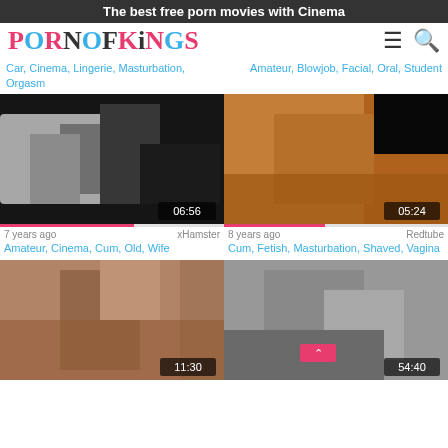The best free porn movies with Cinema
[Figure (logo): PornOfKings logo in pink and blue stylized text]
Car, Cinema, Lingerie, Masturbation, Orgasm
Amateur, Blowjob, Facial, Oral, Student
[Figure (photo): Video thumbnail showing dark scene, duration 06:56, 7 years ago, xHamster]
7 years ago
xHamster
Amateur, Cinema, Cum, Old, Wife
[Figure (photo): Video thumbnail showing warm toned scene, duration 05:24, 8 years ago, Redtube]
8 years ago
Redtube
Cum, Fetish, Masturbation, Shaved, Vagina
[Figure (photo): Video thumbnail showing couple scene, duration 11:30]
[Figure (photo): Video thumbnail in black and white, duration 54:40]